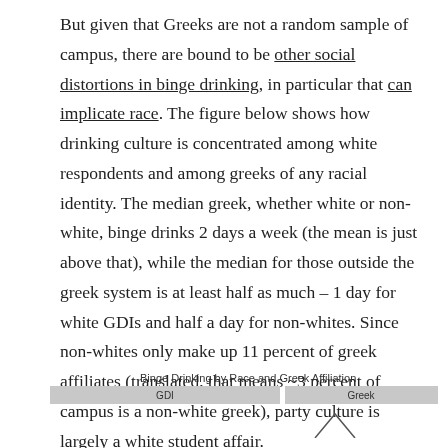But given that Greeks are not a random sample of campus, there are bound to be other social distortions in binge drinking, in particular that can implicate race. The figure below shows how drinking culture is concentrated among white respondents and among greeks of any racial identity. The median greek, whether white or non-white, binge drinks 2 days a week (the mean is just above that), while the median for those outside the greek system is at least half as much – 1 day for white GDIs and half a day for non-whites. Since non-whites only make up 11 percent of greek affiliates (translated, that means ~3 percent of campus is a non-white greek), party culture is largely a white student affair.
Binge Drinking by Race and Greek Affiliation
[Figure (other): Partial chart showing 'Binge Drinking by Race and Greek Affiliation' with two columns labeled 'GDI' and 'Greek', chart is cut off at the bottom of the page]